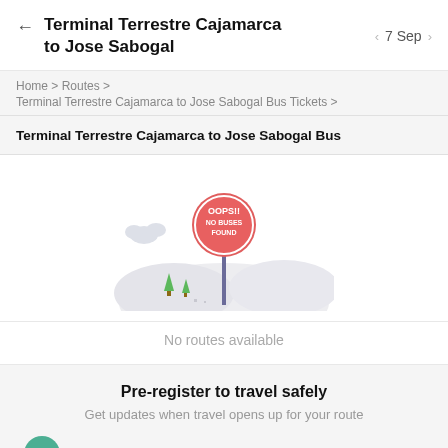Terminal Terrestre Cajamarca to Jose Sabogal — 7 Sep
Home > Routes > Terminal Terrestre Cajamarca to Jose Sabogal Bus Tickets >
Terminal Terrestre Cajamarca to Jose Sabogal Bus
[Figure (illustration): A circular red sign reading OOPS!! NO BUSES FOUND on a pole, with a light grey hilly landscape and small green trees, indicating no results found.]
No routes available
Pre-register to travel safely
Get updates when travel opens up for your route
Soporte para pasajes excepcionales